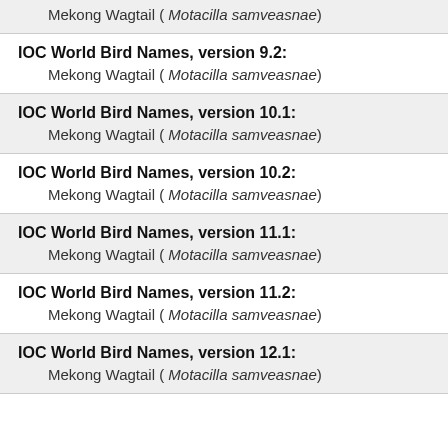Mekong Wagtail ( Motacilla samveasnae)
IOC World Bird Names, version 9.2:
Mekong Wagtail ( Motacilla samveasnae)
IOC World Bird Names, version 10.1:
Mekong Wagtail ( Motacilla samveasnae)
IOC World Bird Names, version 10.2:
Mekong Wagtail ( Motacilla samveasnae)
IOC World Bird Names, version 11.1:
Mekong Wagtail ( Motacilla samveasnae)
IOC World Bird Names, version 11.2:
Mekong Wagtail ( Motacilla samveasnae)
IOC World Bird Names, version 12.1:
Mekong Wagtail ( Motacilla samveasnae)